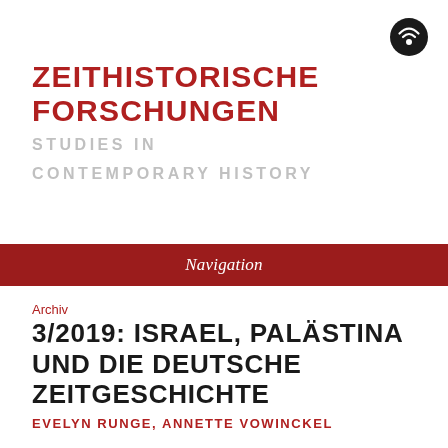[Figure (logo): RSS/podcast feed icon — dark circle with white wifi-style signal arcs]
ZEITHISTORISCHE FORSCHUNGEN
STUDIES IN CONTEMPORARY HISTORY
Navigation
Archiv
3/2019: ISRAEL, PALÄSTINA UND DIE DEUTSCHE ZEITGESCHICHTE
EVELYN RUNGE, ANNETTE VOWINCKEL